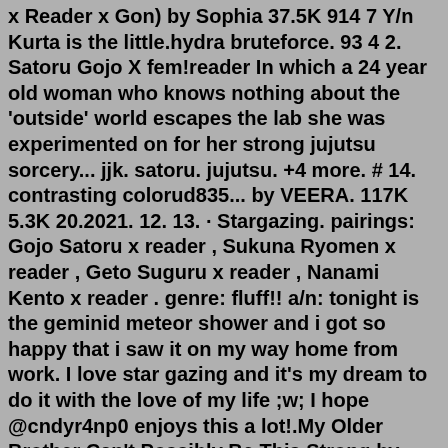x Reader x Gon) by Sophia 37.5K 914 7 Y/n Kurta is the little.hydra bruteforce. 93 4 2. Satoru Gojo X fem!reader In which a 24 year old woman who knows nothing about the 'outside' world escapes the lab she was experimented on for her strong jujutsu sorcery... jjk. satoru. jujutsu. +4 more. # 14. contrasting colorud835... by VEERA. 117K 5.3K 20.2021. 12. 13. · Stargazing. pairings: Gojo Satoru x reader , Sukuna Ryomen x reader , Geto Suguru x reader , Nanami Kento x reader . genre: fluff!! a/n: tonight is the geminid meteor shower and i got so happy that i saw it on my way home from work. I love star gazing and it's my dream to do it with the love of my life ;w; I hope @cndyr4np0 enjoys this a lot!.My Older Brother Can't Possibly Be This Strong by onigiriri reviews. When a girl's life is ended immaturely, she is given a second chance at life within the world of Jujutsu Kaisen as the little sister of one Gojo Satoru, a character that didn't previously exist. However, when she awakens a mystery is thrust upon her.Jul 22, 2022 · Gojo called his name. "The the tried" He h